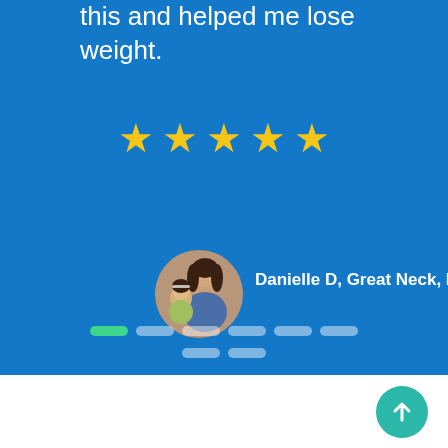this and helped me lose weight.
[Figure (other): Five gold star rating icons on blue background]
[Figure (photo): Circular profile photo of a woman and young girl]
Danielle D, Great Neck, NY
[Figure (infographic): Pagination dots: first dot is green/active, remaining dots are white/inactive]
[Figure (other): Scroll-to-top circular teal button with upward arrow]